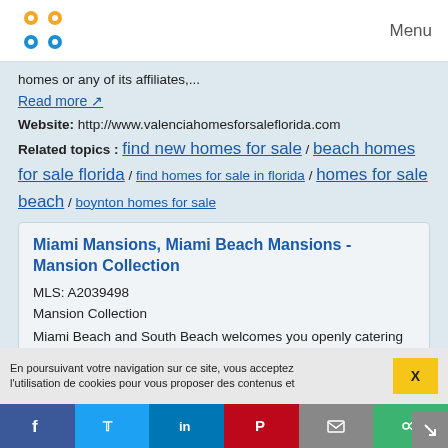Menu
homes or any of its affiliates,...
Read more
Website: http://www.valenciahomesforsaleflorida.com
Related topics : find new homes for sale / beach homes for sale florida / find homes for sale in florida / homes for sale beach / boynton homes for sale
Miami Mansions, Miami Beach Mansions - Mansion Collection
MLS: A2039498
Mansion Collection
Miami Beach and South Beach welcomes you openly catering to all, with its vibrating life, endless sunshine, beautiful skies, and alluring sandy beaches along with its unique architecture that include the properties of Fisher Island.
En poursuivant votre navigation sur ce site, vous acceptez l'utilisation de cookies pour vous proposer des contenus et
X